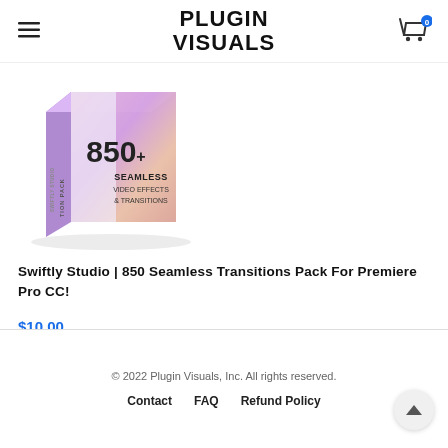Plugin Visuals
[Figure (photo): Product box image showing '850+ Seamless Video Effects & Transitions' pack by Swiftly Studio with purple/pink gradient background]
Swiftly Studio | 850 Seamless Transitions Pack For Premiere Pro CC!
$10.00
[Figure (illustration): Add to cart button with shopping cart icon]
© 2022 Plugin Visuals, Inc. All rights reserved. Contact  FAQ  Refund Policy